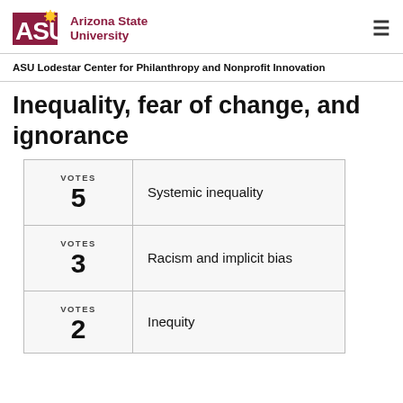ASU Arizona State University
ASU Lodestar Center for Philanthropy and Nonprofit Innovation
Inequality, fear of change, and ignorance
| Votes | Item |
| --- | --- |
| VOTES 5 | Systemic inequality |
| VOTES 3 | Racism and implicit bias |
| VOTES 2 | Inequity |